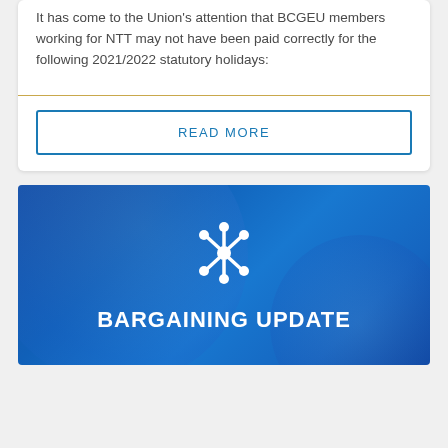It has come to the Union's attention that BCGEU members working for NTT may not have been paid correctly for the following 2021/2022 statutory holidays:
READ MORE
[Figure (illustration): Blue banner with a white network/hub icon and bold white text reading BARGAINING UPDATE]